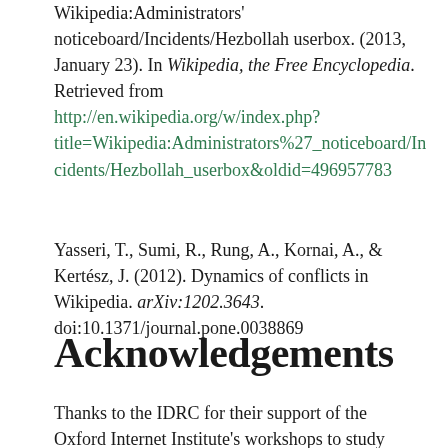Wikipedia:Administrators' noticeboard/Incidents/Hezbollah userbox. (2013, January 23). In Wikipedia, the Free Encyclopedia. Retrieved from http://en.wikipedia.org/w/index.php?title=Wikipedia:Administrators%27_noticeboard/Incidents/Hezbollah_userbox&oldid=496957783
Yasseri, T., Sumi, R., Rung, A., Kornai, A., & Kertész, J. (2012). Dynamics of conflicts in Wikipedia. arXiv:1202.3643. doi:10.1371/journal.pone.0038869
Acknowledgements
Thanks to the IDRC for their support of the Oxford Internet Institute's workshops to study Wikipedia